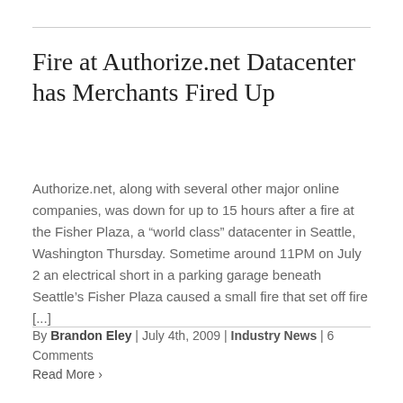Fire at Authorize.net Datacenter has Merchants Fired Up
Authorize.net, along with several other major online companies, was down for up to 15 hours after a fire at the Fisher Plaza, a “world class” datacenter in Seattle, Washington Thursday. Sometime around 11PM on July 2 an electrical short in a parking garage beneath Seattle’s Fisher Plaza caused a small fire that set off fire [...]
By Brandon Eley | July 4th, 2009 | Industry News | 6 Comments
Read More ›